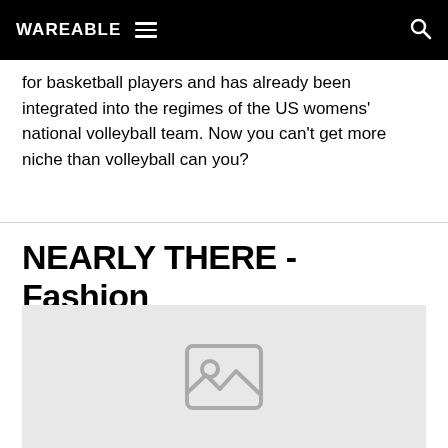WAREABLE
for basketball players and has already been integrated into the regimes of the US womens' national volleyball team. Now you can't get more niche than volleyball can you?
NEARLY THERE - Fashion
[Figure (photo): Placeholder image area with a grey background and a generic image placeholder icon]